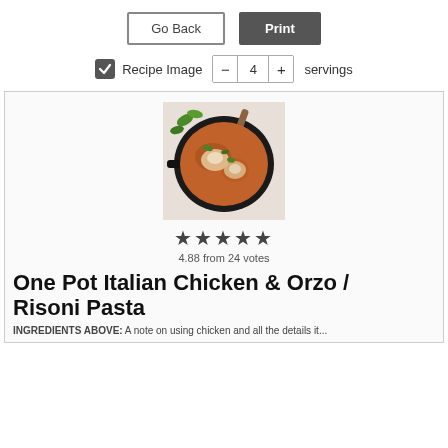Go Back
Print
Recipe Image  −  4  +  servings
[Figure (photo): Overhead photo of a cast iron skillet containing chicken and orzo/risoni pasta in a tomato-based sauce, garnished with fresh basil, with a wooden spoon handle visible. Set on a white marble surface with a cloth napkin.]
★★★★★
4.88 from 24 votes
One Pot Italian Chicken & Orzo / Risoni Pasta
INGREDIENTS ABOVE: A note on using chicken and all the details it...